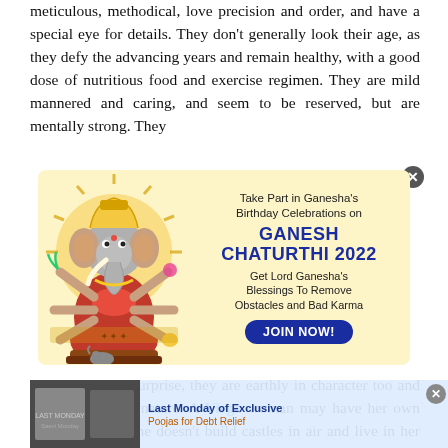meticulous, methodical, love precision and order, and have a special eye for details. They don't generally look their age, as they defy the advancing years and remain healthy, with a good dose of nutritious food and exercise regimen. They are mild mannered and caring, and seem to be reserved, but are mentally strong. They
[Figure (infographic): Advertisement for Ganesh Chaturthi 2022 with image of Lord Ganesha on left and text on right: 'Take Part in Ganesha's Birthday Celebrations on GANESH CHATURTHI 2022. Get Lord Ganesha's Blessings To Remove Obstacles and Bad Karma. JOIN NOW!']
element and no surprise, they are earthly in character too and very practical in nature. A Virgo woman may have her own sentiments, but she doesn't build castles in air and live in her own world of fantasy. Even for